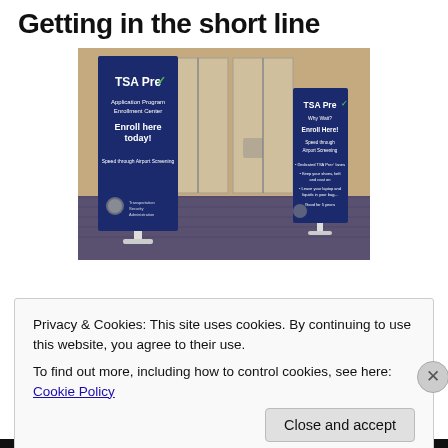Getting in the short line
[Figure (photo): Photo of two TSA PreCheck enrollment banner stands in an airport hallway. The large navy blue banner reads 'TSA Pre✓ Application Program Enrollment Center — Enroll here today! Speed through Airport Screening'. A smaller navy banner to the right reads 'TSA Pre✓ Why Wait? Enroll Here! Speed through Airport Screening — Good for 5 years'.]
Privacy & Cookies: This site uses cookies. By continuing to use this website, you agree to their use.
To find out more, including how to control cookies, see here: Cookie Policy
Close and accept